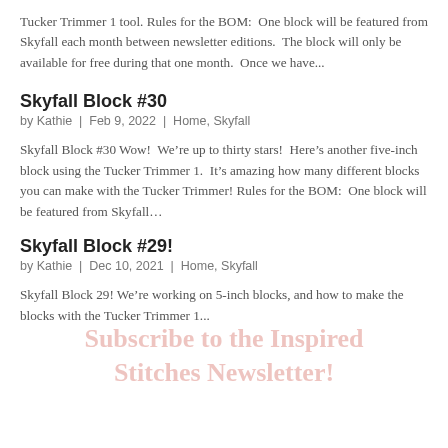Tucker Trimmer 1 tool. Rules for the BOM:  One block will be featured from Skyfall each month between newsletter editions.  The block will only be available for free during that one month.  Once we have...
Skyfall Block #30
by Kathie  |  Feb 9, 2022  |  Home, Skyfall
Skyfall Block #30 Wow!  We’re up to thirty stars!  Here’s another five-inch block using the Tucker Trimmer 1.  It’s amazing how many different blocks you can make with the Tucker Trimmer! Rules for the BOM:  One block will be featured from Skyfall...
Skyfall Block #29!
by Kathie  |  Dec 10, 2021  |  Home, Skyfall
Skyfall Block 29! We’re working on 5-inch blocks, and how to make the blocks with the Tucker Trimmer 1...